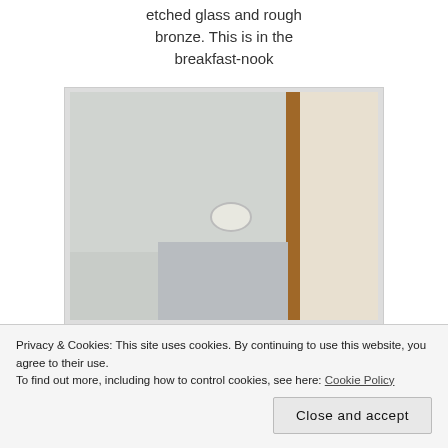etched glass and rough bronze. This is in the breakfast-nook
[Figure (photo): A small ceiling light fixture viewed from below, with white ceiling and a wooden beam/wall corner visible in the background]
This is a small light under the staircase bar. I wanted something a little subtle as it may be used as a
Privacy & Cookies: This site uses cookies. By continuing to use this website, you agree to their use. To find out more, including how to control cookies, see here: Cookie Policy
[Figure (photo): Partial bottom photo strip showing another interior light fixture]